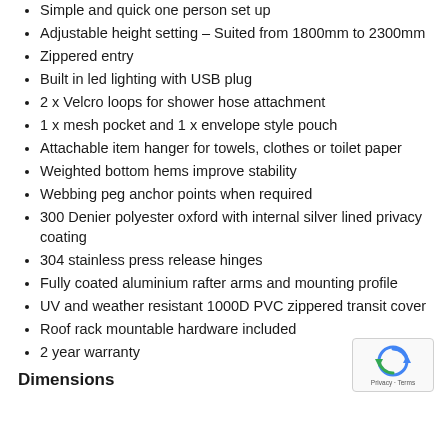Simple and quick one person set up
Adjustable height setting – Suited from 1800mm to 2300mm
Zippered entry
Built in led lighting with USB plug
2 x Velcro loops for shower hose attachment
1 x mesh pocket and 1 x envelope style pouch
Attachable item hanger for towels, clothes or toilet paper
Weighted bottom hems improve stability
Webbing peg anchor points when required
300 Denier polyester oxford with internal silver lined privacy coating
304 stainless press release hinges
Fully coated aluminium rafter arms and mounting profile
UV and weather resistant 1000D PVC zippered transit cover
Roof rack mountable hardware included
2 year warranty
Dimensions